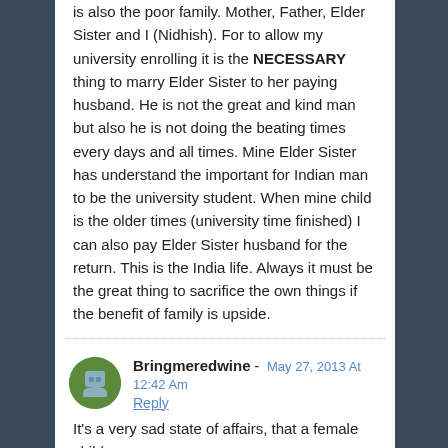is also the poor family. Mother, Father, Elder Sister and I (Nidhish). For to allow my university enrolling it is the NECESSARY thing to marry Elder Sister to her paying husband. He is not the great and kind man but also he is not doing the beating times every days and all times. Mine Elder Sister has understand the important for Indian man to be the university student. When mine child is the older times (university time finished) I can also pay Elder Sister husband for the return. This is the India life. Always it must be the great thing to sacrifice the own things if the benefit of family is upside.
Bringmeredwine - May 27, 2013 At 12:42 Am
Reply
It's a very sad state of affairs, that a female child